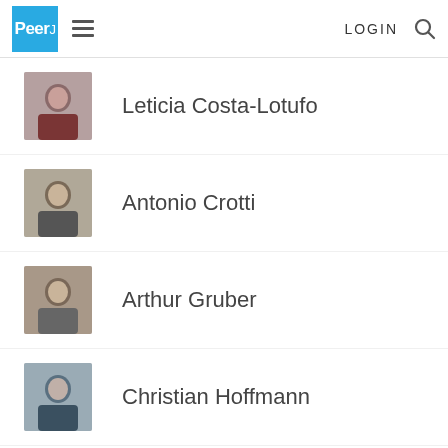PeerJ LOGIN
Leticia Costa-Lotufo
Antonio Crotti
Arthur Gruber
Christian Hoffmann
Fabio Nogueira